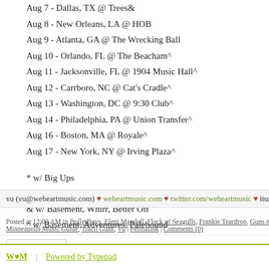Aug 7 - Dallas, TX @ Trees&
Aug 8 - New Orleans, LA @ HOB
Aug 9 - Atlanta, GA @ The Wrecking Ball
Aug 10 - Orlando, FL @ The Beacham^
Aug 11 - Jacksonville, FL @ 1904 Music Hall^
Aug 12 - Carrboro, NC @ Cat's Cradle^
Aug 13 - Washington, DC @ 9:30 Club^
Aug 14 - Philadelphia, PA @ Union Transfer^
Aug 16 - Boston, MA @ Royale^
Aug 17 - New York, NY @ Irving Plaza^
* w/ Big Ups
# w/ Upset
& w/ Basement, Whirr, Better Off
^ w/ Basement, Adventures, Palehound
vu (vu@weheartmusic.com) ♥ weheartmusic.com ♥ twitter.com/weheartmusic ♥ itunes.a
Posted at 12:00 AM in BulletBoys, Eleni Mandell, Flock of Seagulls, Frankie Teardrop, Guns n R Minneapolis Music Guide, Tracii Guns, Vu | Permalink | Comments (0)
W♥M | Powered by Typepad